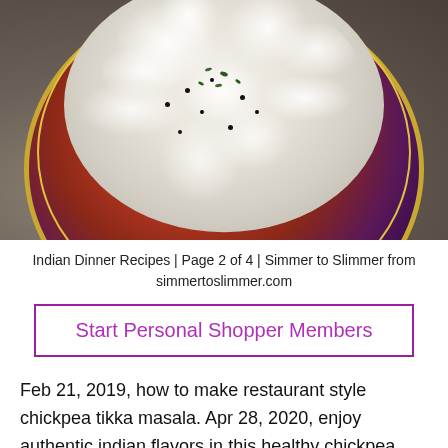[Figure (photo): Food photo showing a decorative Indian bowl with red, gold, and blue patterns filled with white rice/curd rice garnished with black mustard seeds and green herbs/cilantro leaves, set against a dark grey background.]
Indian Dinner Recipes | Page 2 of 4 | Simmer to Slimmer from simmertoslimmer.com
Start Personal Shopper Members
Feb 21, 2019, how to make restaurant style chickpea tikka masala. Apr 28, 2020, enjoy authentic indian flavors in this healthy chickpea tikka masala. Bake the chickpeas in preheated oven for 10 min. This is your spice mix. Aug 21,